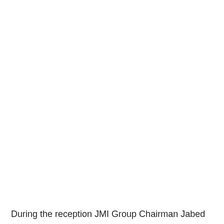[Figure (photo): A largely white/blank photo area occupying most of the page]
During the reception JMI Group Chairman Jabed